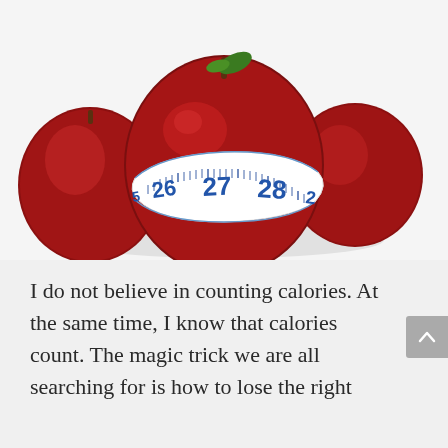[Figure (photo): Three red apples on a white surface, with a blue and white measuring tape wrapped around the central foreground apple showing measurements 26, 27, 28.]
I do not believe in counting calories. At the same time, I know that calories count. The magic trick we are all searching for is how to lose the right